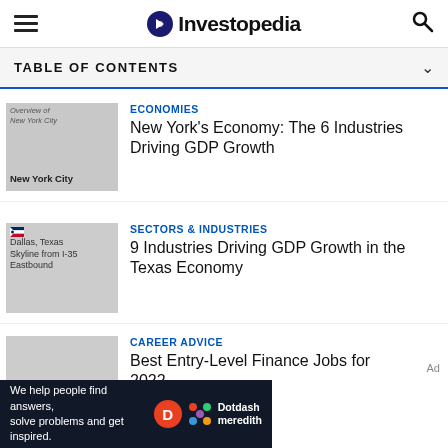Investopedia
TABLE OF CONTENTS
[Figure (screenshot): Thumbnail image of New York City overview]
ECONOMIES
New York's Economy: The 6 Industries Driving GDP Growth
[Figure (photo): Dallas, Texas Skyline from I-35 Eastbound]
SECTORS & INDUSTRIES
9 Industries Driving GDP Growth in the Texas Economy
[Figure (photo): Career advice article thumbnail]
CAREER ADVICE
Best Entry-Level Finance Jobs for 2022
Ad
We help people find answers, solve problems and get inspired.
Dotdash meredith